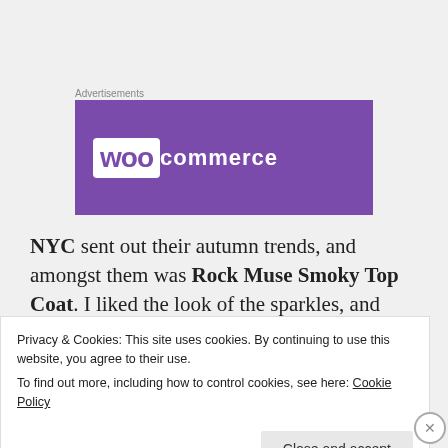Advertisements
[Figure (logo): WooCommerce logo on purple banner background]
NYC sent out their autumn trends, and amongst them was Rock Muse Smoky Top Coat. I liked the look of the sparkles, and didn't believe that htey would ever look as good out of the bottle as they
Privacy & Cookies: This site uses cookies. By continuing to use this website, you agree to their use.
To find out more, including how to control cookies, see here: Cookie Policy
Close and accept
Advertisements